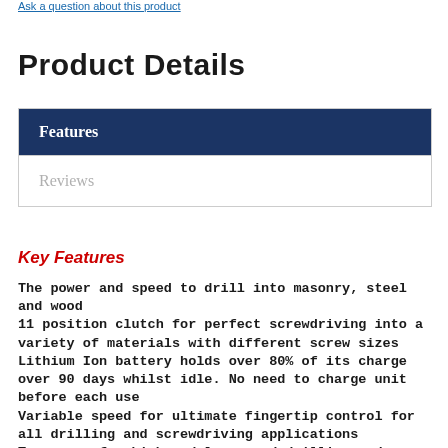Ask a question about this product
Product Details
| Features |
| Reviews |
Key Features
The power and speed to drill into masonry, steel and wood
11 position clutch for perfect screwdriving into a variety of materials with different screw sizes
Lithium Ion battery holds over 80% of its charge over 90 days whilst idle. No need to charge unit before each use
Variable speed for ultimate fingertip control for all drilling and screwdriving applications
Two gears for high and low speed drilling and screwdriving: First gear provides greater torque and control; second gear